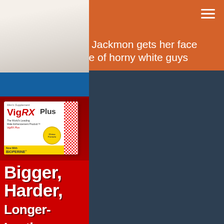Black babe Sandi Jackmon gets her face fucked by a couple of horny white guys
[Figure (photo): Partial view of a photo showing people, largely obscured by overlaid title text]
[Figure (advertisement): VigRX Plus male enhancement product advertisement with box image and text reading Bigger, Harder, Longer-Lasting Erections on red background]